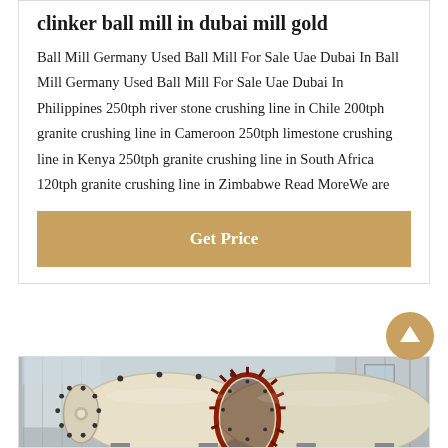clinker ball mill in dubai mill gold
Ball Mill Germany Used Ball Mill For Sale Uae Dubai In Ball Mill Germany Used Ball Mill For Sale Uae Dubai In Philippines 250tph river stone crushing line in Chile 200tph granite crushing line in Cameroon 250tph limestone crushing line in Kenya 250tph granite crushing line in South Africa 120tph granite crushing line in Zimbabwe Read MoreWe are
Get Price
[Figure (photo): Industrial ball mills (large cylindrical grinding machines) photographed in an industrial facility. The machines are cream/white colored with black bolts and a large gear ring visible on the right side.]